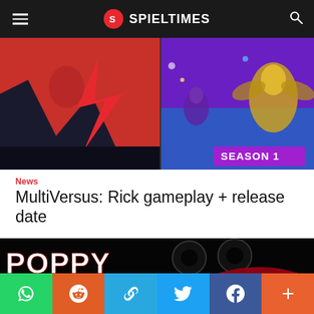SPIELTIMES
[Figure (screenshot): MultiVersus game promotional banner showing animated character on red zigzag background on left, and colorful fighting game characters with 'SEASON 1' text on purple/blue background on right]
News
MultiVersus: Rick gameplay + release date
[Figure (screenshot): Poppy Playtime Chapter 3 promotional image showing 'POPPY PLAYTIME CHAPTER 3' text on dark background with a monstrous creature with large eyes and sharp teeth]